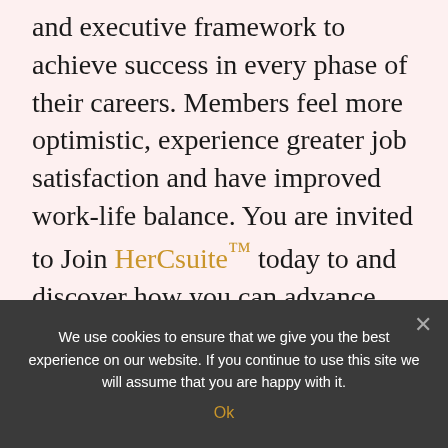and executive framework to achieve success in every phase of their careers.  Members feel more optimistic, experience greater job satisfaction and have improved work-life balance.  You are invited to Join HerCsuite™ today to and discover how you can advance your career inside a supportive community.
We use cookies to ensure that we give you the best experience on our website. If you continue to use this site we will assume that you are happy with it.
Ok